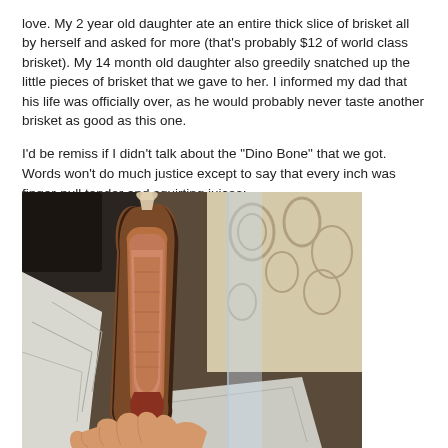love. My 2 year old daughter ate an entire thick slice of brisket all by herself and asked for more (that's probably $12 of world class brisket). My 14 month old daughter also greedily snatched up the little pieces of brisket that we gave to her. I informed my dad that his life was officially over, as he would probably never taste another brisket as good as this one.

I'd be remiss if I didn't talk about the "Dino Bone" that we got. Words won't do much justice except to say that every inch was finger-pull tender and squirting juices:
[Figure (photo): A hand holding a large smoked beef rib (Dino Bone) vertically, showing the dark bark and juicy tender meat interior with pink smoke ring, surrounded by foil wrapping and a decorative background.]